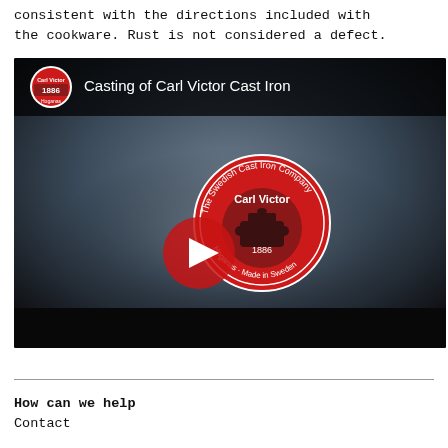consistent with the directions included with the cookware. Rust is not considered a defect.
[Figure (screenshot): Video thumbnail for 'Casting of Carl Victor Cast Iron' showing a blurred dark background with water droplets and the Carl Victor Hoganas brand logo in the center. A YouTube-style play button is overlaid on the thumbnail. The video top bar shows the Carl Victor 1886 Hoganas logo circle and the title text.]
How can we help
Contact